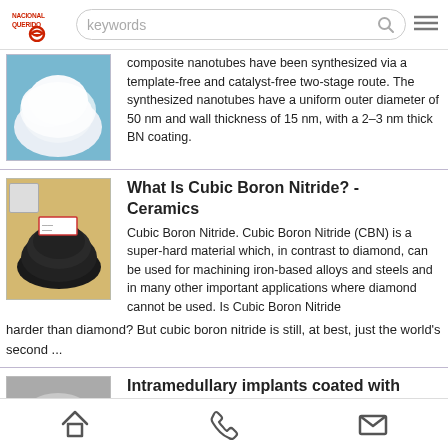[Figure (screenshot): NacionalQuerido website mobile search result page showing boron nitride related articles]
composite nanotubes have been synthesized via a template-free and catalyst-free two-stage route. The synthesized nanotubes have a uniform outer diameter of 50 nm and wall thickness of 15 nm, with a 2–3 nm thick BN coating.
What Is Cubic Boron Nitride? - Ceramics
Cubic Boron Nitride. Cubic Boron Nitride (CBN) is a super-hard material which, in contrast to diamond, can be used for machining iron-based alloys and steels and in many other important applications where diamond cannot be used. Is Cubic Boron Nitride harder than diamond? But cubic boron nitride is still, at best, just the world's second ...
Intramedullary implants coated with cubic boron ...
Background: Boron nitride is a biocompatible